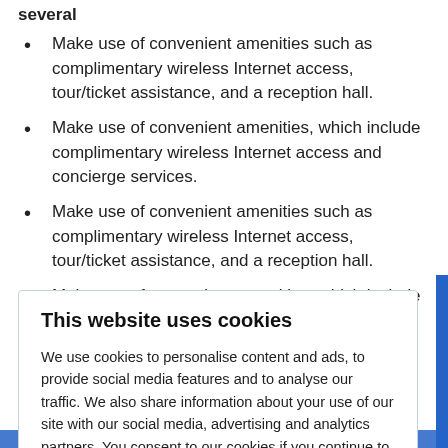several
Make use of convenient amenities such as complimentary wireless Internet access, tour/ticket assistance, and a reception hall.
Make use of convenient amenities, which include complimentary wireless Internet access and concierge services.
Make use of convenient amenities such as complimentary wireless Internet access, tour/ticket assistance, and a reception hall.
Make use of convenient amenities, which include
This website uses cookies
We use cookies to personalise content and ads, to provide social media features and to analyse our traffic. We also share information about your use of our site with our social media, advertising and analytics partners. You consent to our cookies if you continue to use our website. Learn more